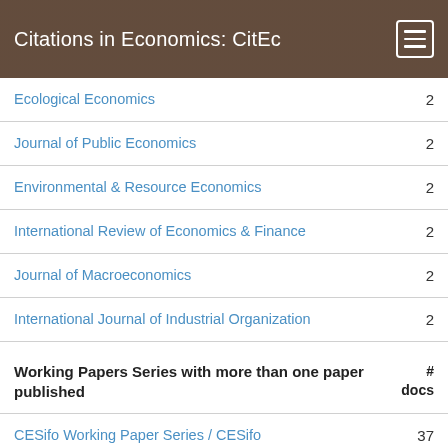Citations in Economics: CitEc
Ecological Economics
Journal of Public Economics
Environmental & Resource Economics
International Review of Economics & Finance
Journal of Macroeconomics
International Journal of Industrial Organization
Working Papers Series with more than one paper published
CESifo Working Paper Series / CESifo
Post-Print / HAL
Kiel Working Papers / Kiel Institute for the World Economy (IfW Kiel)